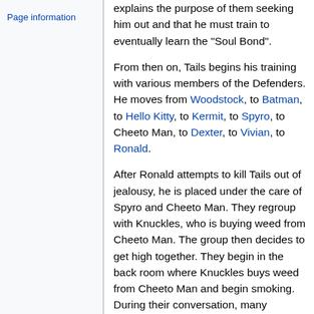Page information
explains the purpose of them seeking him out and that he must train to eventually learn the "Soul Bond".
From then on, Tails begins his training with various members of the Defenders. He moves from Woodstock, to Batman, to Hello Kitty, to Kermit, to Spyro, to Cheeto Man, to Dexter, to Vivian, to Ronald.
After Ronald attempts to kill Tails out of jealousy, he is placed under the care of Spyro and Cheeto Man. They regroup with Knuckles, who is buying weed from Cheeto Man. The group then decides to get high together. They begin in the back room where Knuckles buys weed from Cheeto Man and begin smoking. During their conversation, many remarks about Hello Kitty's sexual encounters with other characters are made, causing Doug and